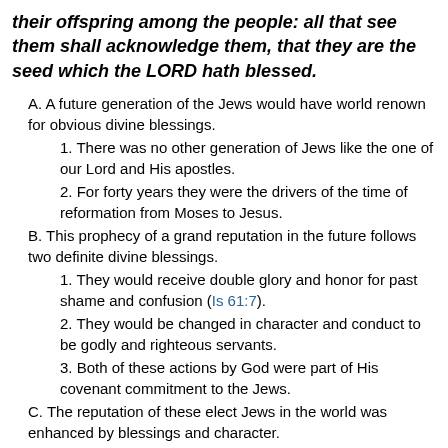their offspring among the people: all that see them shall acknowledge them, that they are the seed which the LORD hath blessed.
A. A future generation of the Jews would have world renown for obvious divine blessings.
1. There was no other generation of Jews like the one of our Lord and His apostles.
2. For forty years they were the drivers of the time of reformation from Moses to Jesus.
B. This prophecy of a grand reputation in the future follows two definite divine blessings.
1. They would receive double glory and honor for past shame and confusion (Is 61:7).
2. They would be changed in character and conduct to be godly and righteous servants.
3. Both of these actions by God were part of His covenant commitment to the Jews.
C. The reputation of these elect Jews in the world was enhanced by blessings and character.
1. This did not last long, it does not exist today, and it will likely never be great again.